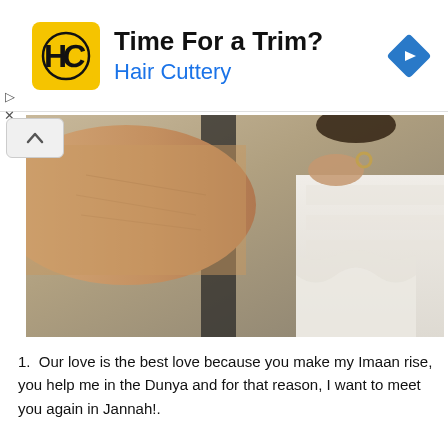[Figure (other): Hair Cuttery advertisement banner with yellow logo showing 'HC', text 'Time For a Trim?' and 'Hair Cuttery' in blue, and a blue navigation diamond icon on the right.]
[Figure (photo): Close-up photo of a bride and groom holding hands, showing the lace detail of a wedding dress and the groom's suit, with a wedding ring visible.]
1.  Our love is the best love because you make my Imaan rise, you help me in the Dunya and for that reason, I want to meet you again in Jannah!.